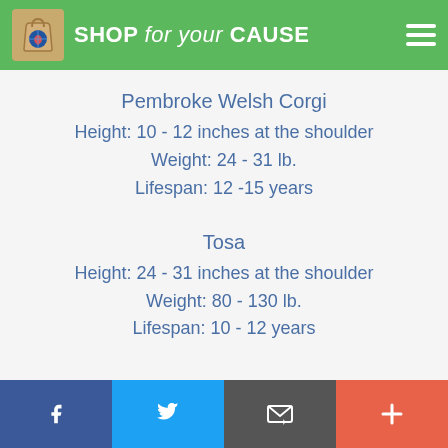SHOP for your CAUSE
Pembroke Welsh Corgi
Height: 10 - 12 inches at the shoulder
Weight: 24 - 31 lb.
Lifespan: 12 -15 years
Tosa
Height: 24 - 31 inches at the shoulder
Weight: 80 - 130 lb.
Lifespan: 10 - 12 years
f  [twitter]  [email]  +